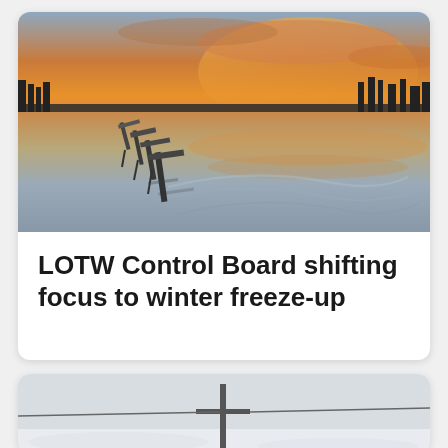[Figure (photo): Sunset over a calm lake with wooden docks extending into the water. Orange and golden sky reflected in the still water, dark tree silhouettes on the horizon.]
LOTW Control Board shifting focus to winter freeze-up
[Figure (photo): Partially visible photo showing a snowy or wintry scene with what appears to be a utility pole or cross shape in the foreground.]